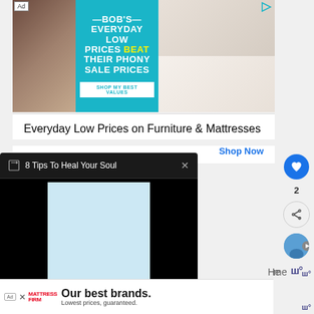[Figure (screenshot): Bob's Furniture advertisement banner: 'BOB'S EVERYDAY LOW PRICES BEAT THEIR PHONY SALE PRICES' on teal background, with bedroom and living room furniture photos on left and right]
Everyday Low Prices on Furniture & Mattresses
Shop Now
[Figure (screenshot): Popup overlay on dark background: '8 Tips To Heal Your Soul' with a light blue image area below]
[Figure (screenshot): Mattress Firm advertisement banner: 'Our best brands. Lowest prices, guaranteed.']